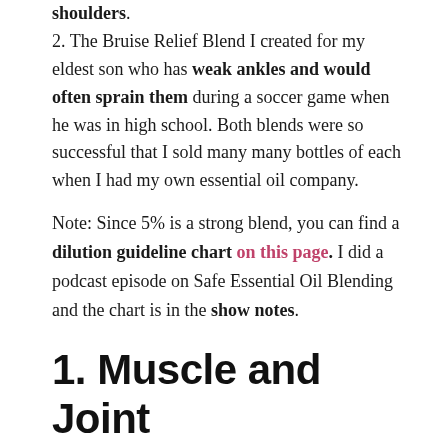shoulders. 2. The Bruise Relief Blend I created for my eldest son who has weak ankles and would often sprain them during a soccer game when he was in high school. Both blends were so successful that I sold many many bottles of each when I had my own essential oil company.
Note: Since 5% is a strong blend, you can find a dilution guideline chart on this page. I did a podcast episode on Safe Essential Oil Blending and the chart is in the show notes.
1. Muscle and Joint Comfort Blend (5%)